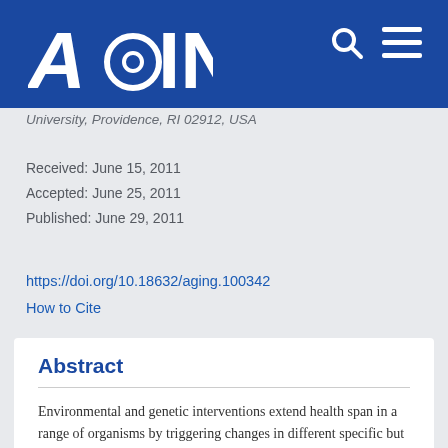AGING
University, Providence, RI 02912, USA
Received: June 15, 2011
Accepted: June 25, 2011
Published: June 29, 2011
https://doi.org/10.18632/aging.100342
How to Cite
Abstract
Environmental and genetic interventions extend health span in a range of organisms by triggering changes in different specific but complementary pathways. We investigated the gene expression changes that occur